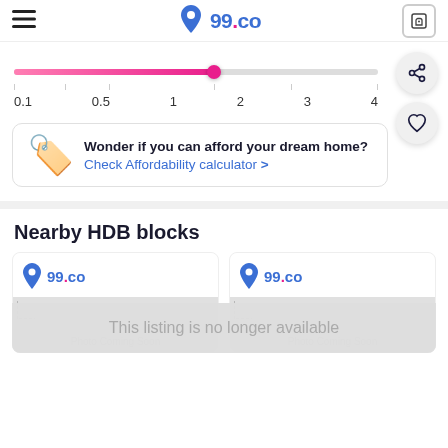99.co
[Figure (other): Horizontal range slider with pink/magenta fill from left to approximately 2, grey track from 2 to 4. Tick marks and labels at 0.1, 0.5, 1, 2, 3, 4.]
Wonder if you can afford your dream home? Check Affordability calculator >
Nearby HDB blocks
[Figure (screenshot): Two 99.co placeholder listing cards side by side showing 'Photo Coming Soon' with dashed corner marks. An overlay reads 'This listing is no longer available'.]